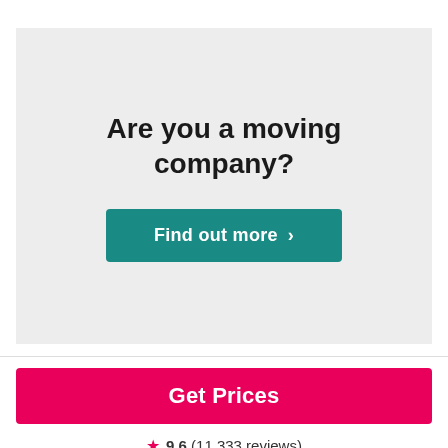Are you a moving company?
Find out more ❯
Get Prices
★ 9.6 (11,333 reviews)